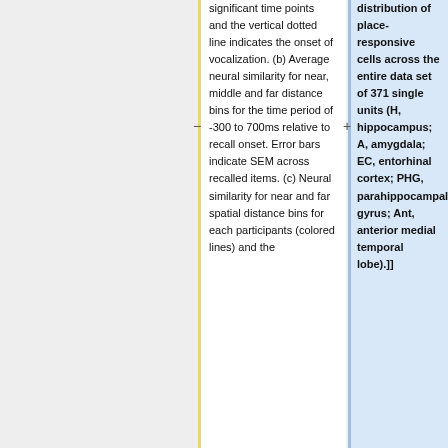significant time points and the vertical dotted line indicates the onset of vocalization. (b) Average neural similarity for near, middle and far distance bins for the time period of -300 to 700ms relative to recall onset. Error bars indicate SEM across recalled items. (c) Neural similarity for near and far spatial distance bins for each participants (colored lines) and the
distribution of place-responsive cells across the entire data set of 371 single units (H, hippocampus; A, amygdala; EC, entorhinal cortex; PHG, parahippocampal gyrus; Ant, anterior medial temporal lobe).]]